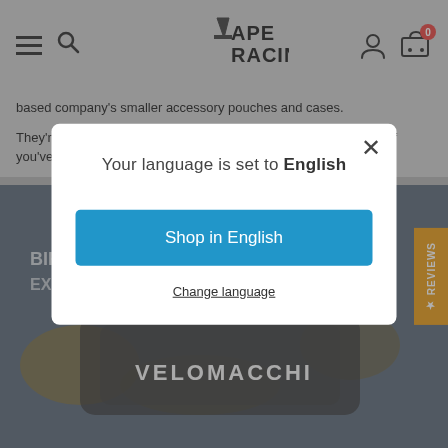APE RACING (header navigation with hamburger, search, logo, account, cart)
based company's smaller accessory pouches and cases.
They're well made, good looking and practical, and great options if you've run o
[Figure (screenshot): Photo of Velomacchi branded cycling gear on a rusted/textured blue background]
Your language is set to English
Shop in English
Change language